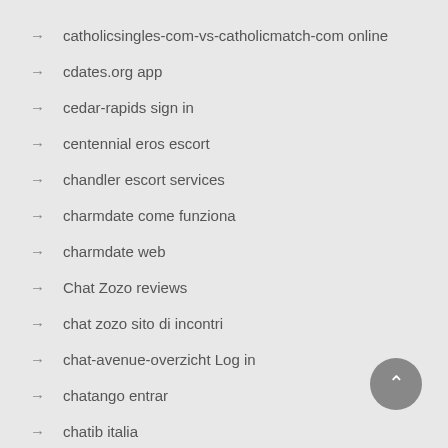catholicsingles-com-vs-catholicmatch-com online
cdates.org app
cedar-rapids sign in
centennial eros escort
chandler escort services
charmdate come funziona
charmdate web
Chat Zozo reviews
chat zozo sito di incontri
chat-avenue-overzicht Log in
chatango entrar
chatib italia